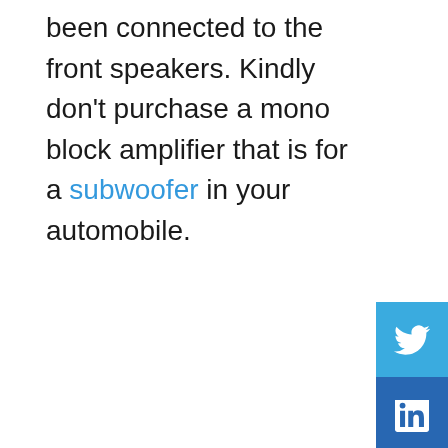been connected to the front speakers. Kindly don't purchase a mono block amplifier that is for a subwoofer in your automobile.
[Figure (other): Social sharing sidebar with Twitter (blue bird icon), LinkedIn (blue 'in' icon), and a '+' more button on a light gray background. A small blue horizontal bar appears near the bottom right.]